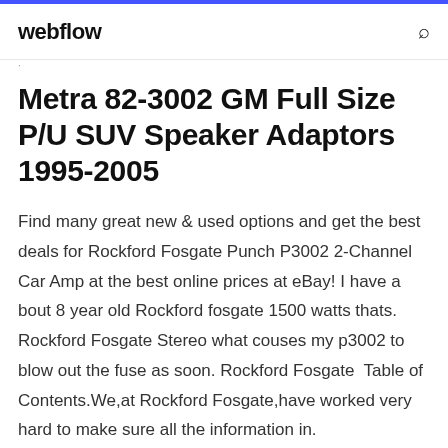webflow
Metra 82-3002 GM Full Size P/U SUV Speaker Adaptors 1995-2005
Find many great new & used options and get the best deals for Rockford Fosgate Punch P3002 2-Channel Car Amp at the best online prices at eBay! I have a bout 8 year old Rockford fosgate 1500 watts thats. Rockford Fosgate Stereo what couses my p3002 to blow out the fuse as soon. Rockford Fosgate  Table of Contents.We,at Rockford Fosgate,have worked very hard to make sure all the information in.